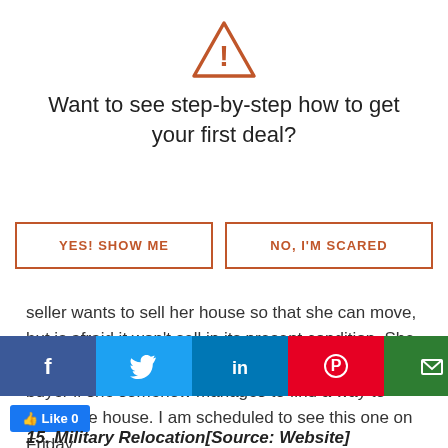[Figure (illustration): Orange warning triangle icon with exclamation mark]
Want to see step-by-step how to get your first deal?
YES! SHOW ME | NO, I'M SCARED (call-to-action buttons)
seller wants to sell her house so that she can move, but is afraid it won't sell in its present condition. She also wants to avoid having to wait for a qualified buyer if she somehow manages to find a way to repair the house. I am scheduled to see this one on Friday.
[Figure (infographic): Social sharing bar with Facebook, Twitter, LinkedIn, Pinterest, Email, Instagram icons and reCAPTCHA privacy badge]
Like 0
15. Military Relocation[Source: Website]